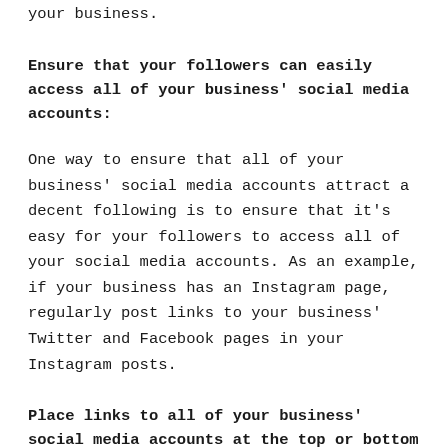your business.
Ensure that your followers can easily access all of your business' social media accounts:
One way to ensure that all of your business' social media accounts attract a decent following is to ensure that it's easy for your followers to access all of your social media accounts. As an example, if your business has an Instagram page, regularly post links to your business' Twitter and Facebook pages in your Instagram posts.
Place links to all of your business' social media accounts at the top or bottom of your business'